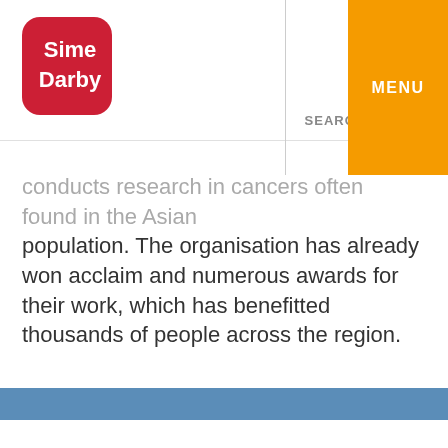[Figure (logo): Sime Darby logo - red rounded square with white text]
SEARCH   MENU
conducts research in cancers often found in the Asian population. The organisation has already won acclaim and numerous awards for their work, which has benefitted thousands of people across the region.